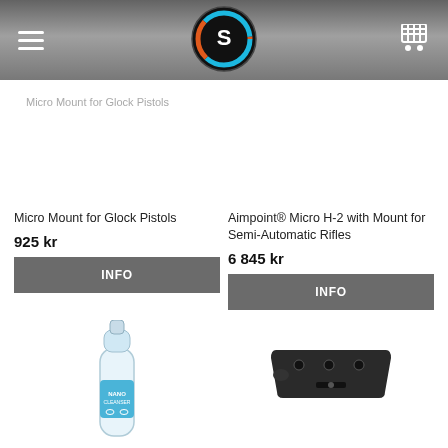Navigation header with logo, hamburger menu, and cart icon
Micro Mount for Glock Pistols
Micro Mount for Glock Pistols
925 kr
Aimpoint® Micro H-2 with Mount for Semi-Automatic Rifles
6 845 kr
[Figure (photo): Nano Cleanser spray bottle with blue label]
[Figure (photo): Black tactical mount plate with screw holes]